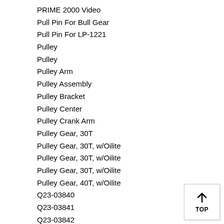PRIME 2000 Video
Pull Pin For Bull Gear
Pull Pin For LP-1221
Pulley
Pulley
Pulley Arm
Pulley Assembly
Pulley Bracket
Pulley Center
Pulley Crank Arm
Pulley Gear, 30T
Pulley Gear, 30T, w/Oilite
Pulley Gear, 30T, w/Oilite
Pulley Gear, 30T, w/Oilite
Pulley Gear, 40T, w/Oilite
Q23-03840
Q23-03841
Q23-03842
Q23-03843
Quick Change Gearbox Parts
Quick Change Gearbox Parts
Rack Pinion Gear
Rack Pinion Gear, 12T, w/Shaft
Rack Pinion, 16T, w/Shaft
Rear Gib